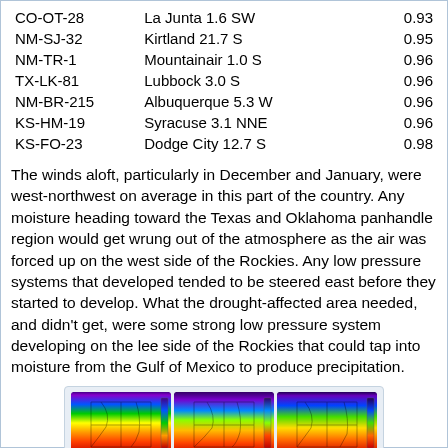| CO-OT-28 | La Junta 1.6 SW | 0.93 |
| NM-SJ-32 | Kirtland 21.7 S | 0.95 |
| NM-TR-1 | Mountainair 1.0 S | 0.96 |
| TX-LK-81 | Lubbock 3.0 S | 0.96 |
| NM-BR-215 | Albuquerque 5.3 W | 0.96 |
| KS-HM-19 | Syracuse 3.1 NNE | 0.96 |
| KS-FO-23 | Dodge City 12.7 S | 0.98 |
The winds aloft, particularly in December and January, were west-northwest on average in this part of the country. Any moisture heading toward the Texas and Oklahoma panhandle region would get wrung out of the atmosphere as the air was forced up on the west side of the Rockies. Any low pressure systems that developed tended to be steered east before they started to develop. What the drought-affected area needed, and didn't get, were some strong low pressure system developing on the lee side of the Rockies that could tap into moisture from the Gulf of Mexico to produce precipitation.
[Figure (other): Three side-by-side meteorological maps showing wind or pressure patterns over the central United States, displayed with a rainbow color scale.]